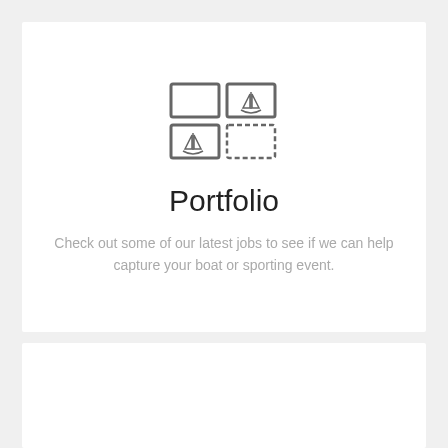[Figure (illustration): Portfolio icon: a 2x2 grid of image/photo frames, two containing a sailboat/ship icon and two empty, rendered in gray outline style]
Portfolio
Check out some of our latest jobs to see if we can help capture your boat or sporting event.